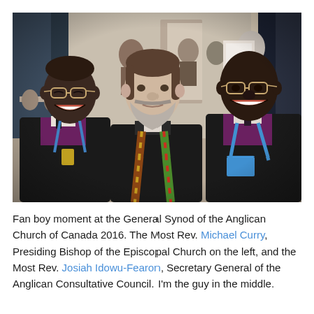[Figure (photo): Three men posing for a selfie-style photo in what appears to be a conference hall. On the left is a smiling Black man wearing bishop vestments and glasses. In the center is a white man with a grey beard wearing a clerical collar and colorful stole. On the right is a Black man wearing bishop vestments and a blue lanyard. Other conference attendees are visible in the background.]
Fan boy moment at the General Synod of the Anglican Church of Canada 2016. The Most Rev. Michael Curry, Presiding Bishop of the Episcopal Church on the left, and the Most Rev. Josiah Idowu-Fearon, Secretary General of the Anglican Consultative Council. I'm the guy in the middle.